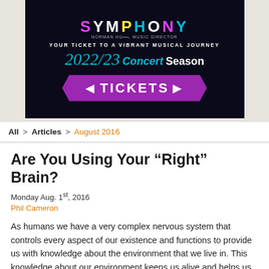[Figure (infographic): Symphony advertisement banner for 2022/23 Concert Season with TICKETS button in purple on dark background]
All > Articles > August 2016
Are You Using Your “Right” Brain?
Monday Aug. 1st, 2016
Phil Cameron
As humans we have a very complex nervous system that controls every aspect of our existence and functions to provide us with knowledge about the environment that we live in. This knowledge about our environment keeps us alive and helps us to make choices to better our living experience. The human